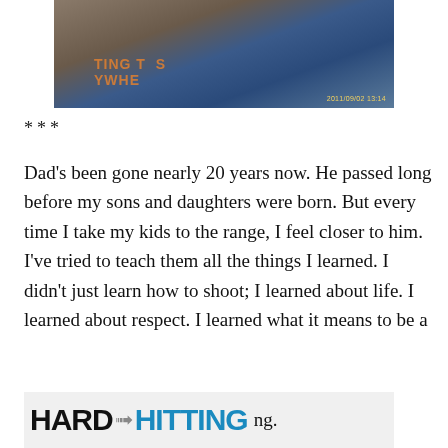[Figure (photo): Photo of a child wearing a blue shirt with Toy Story characters, holding something, outdoors. Timestamp reads 2011/09/02 13:14 in yellow text.]
***
Dad’s been gone nearly 20 years now. He passed long before my sons and daughters were born. But every time I take my kids to the range, I feel closer to him. I’ve tried to teach them all the things I learned. I didn’t just learn how to shoot; I learned about life. I learned about respect. I learned what it means to be a
[Figure (other): Partial banner image showing 'HARD HITTING' text with a gun graphic, partially obscured, followed by 'ng.' text]